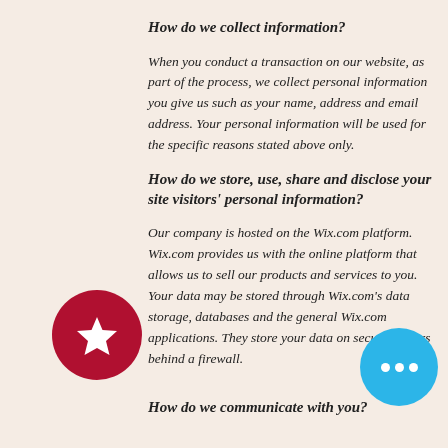How do we collect information?
When you conduct a transaction on our website, as part of the process, we collect personal information you give us such as your name, address and email address. Your personal information will be used for the specific reasons stated above only.
How do we store, use, share and disclose your site visitors' personal information?
Our company is hosted on the Wix.com platform. Wix.com provides us with the online platform that allows us to sell our products and services to you. Your data may be stored through Wix.com's data storage, databases and the general Wix.com applications. They store your data on secure servers behind a firewall.
How do we communicate with you?